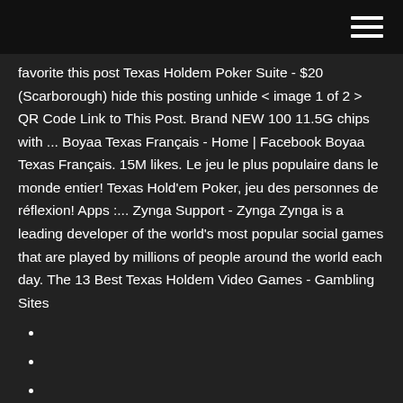favorite this post Texas Holdem Poker Suite - $20 (Scarborough) hide this posting unhide < image 1 of 2 > QR Code Link to This Post. Brand NEW 100 11.5G chips with ... Boyaa Texas Français - Home | Facebook Boyaa Texas Français. 15M likes. Le jeu le plus populaire dans le monde entier! Texas Hold'em Poker, jeu des personnes de réflexion! Apps :... Zynga Support - Zynga Zynga is a leading developer of the world's most popular social games that are played by millions of people around the world each day. The 13 Best Texas Holdem Video Games - Gambling Sites